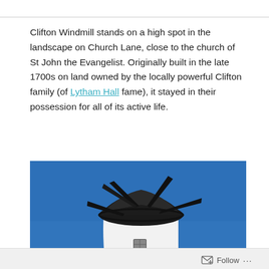Clifton Windmill stands on a high spot in the landscape on Church Lane, close to the church of St John the Evangelist. Originally built in the late 1700s on land owned by the locally powerful Clifton family (of Lytham Hall fame), it stayed in their possession for all of its active life.
[Figure (photo): Close-up photograph of Clifton Windmill showing the white cylindrical tower topped with a dark cap and sails against a clear blue sky.]
Follow